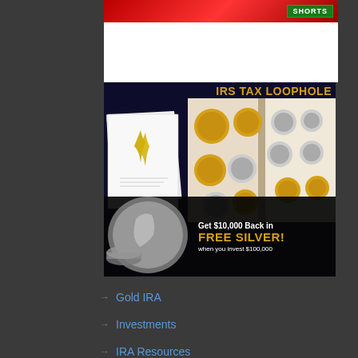[Figure (advertisement): Red banner advertisement with green 'Shorts' button]
[Figure (advertisement): IRS Tax Loophole advertisement for Gold IRA with coins catalog. Text: 'IRS TAX LOOPHOLE', 'Get $10,000 Back in FREE SILVER! when you invest $100,000']
Gold IRA
Investments
IRA Resources
Precious Metals
Privacy Policy